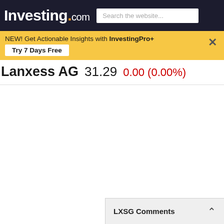Investing.com — Search the website...
NEW! Get Actionable Insights with InvestingPro+ Try 7 Days Free
Lanxess AG  31.29  0.00 (0.00%)
LXSG Comments